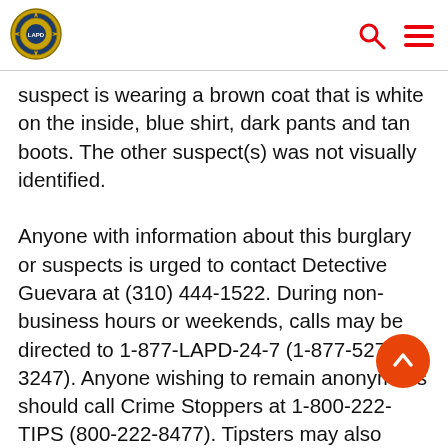LAPD logo, search icon, menu icon
suspect is wearing a brown coat that is white on the inside, blue shirt, dark pants and tan boots. The other suspect(s) was not visually identified.

Anyone with information about this burglary or suspects is urged to contact Detective Guevara at (310) 444-1522.  During non-business hours or weekends, calls may be directed to 1-877-LAPD-24-7 (1-877-527-3247).  Anyone wishing to remain anonymous should call Crime Stoppers at 1-800-222-TIPS (800-222-8477).  Tipsters may also contact Crime Stoppers by texting to phone number 274637 (C-R-I-M-E-S on most keyp... with a cell phone.  All text messages should begin with the letters "LAPD."  Tipsters may also go to